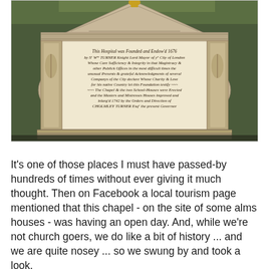[Figure (photo): A stone commemorative plaque mounted on a building wall, with ornate carved stone surround. The inscription reads: 'This Hospital was Founded and Endow'd 1676 by Sr Wm Turner Knight Lord Mayor of ye City of London Whose Care Sufficiency & Integrity in that Magistracy & other Publick Offices in the most difficult times the unusual Presents & grateful Acknowledgments of several Companys of the City declare Whose Charity & Love for his native Country let this Foundation testify. The Chapel & the two School-Houses were Erected and the Masters and Mistresses Houses improved and inlarg'd 1742 by the Orders and Direction of Cholmley Turner Esqr the present Governor']
It's one of those places I must have passed-by hundreds of times without ever giving it much thought. Then on Facebook a local tourism page mentioned that this chapel - on the site of some alms houses - was having an open day. And, while we're not church goers, we do like a bit of history ... and we are quite nosey ... so we swung by and took a look.
The signs outside, by the side of the road said 'Chapel Open Day: Photographers Welcome'. How nice was that? So, we